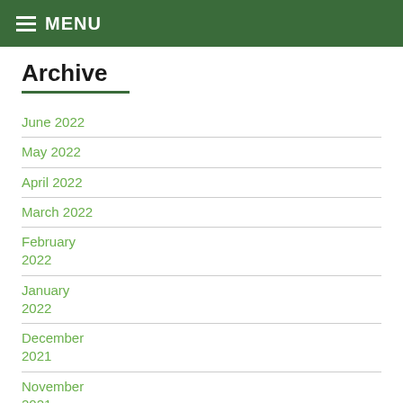MENU
Archive
June 2022
May 2022
April 2022
March 2022
February 2022
January 2022
December 2021
November 2021
October 2021
September 2021
July 2021